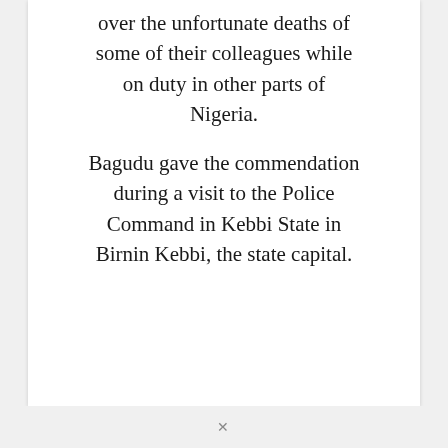over the unfortunate deaths of some of their colleagues while on duty in other parts of Nigeria.
Bagudu gave the commendation during a visit to the Police Command in Kebbi State in Birnin Kebbi, the state capital.